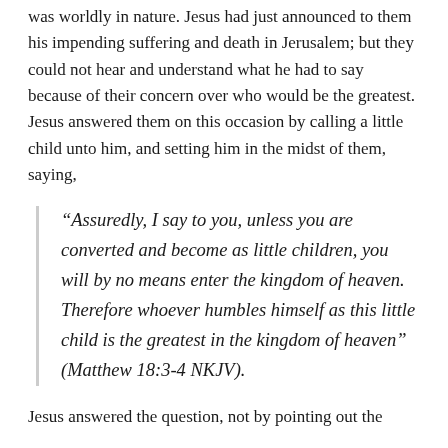was worldly in nature. Jesus had just announced to them his impending suffering and death in Jerusalem; but they could not hear and understand what he had to say because of their concern over who would be the greatest. Jesus answered them on this occasion by calling a little child unto him, and setting him in the midst of them, saying,
“Assuredly, I say to you, unless you are converted and become as little children, you will by no means enter the kingdom of heaven. Therefore whoever humbles himself as this little child is the greatest in the kingdom of heaven” (Matthew 18:3-4 NKJV).
Jesus answered the question, not by pointing out the